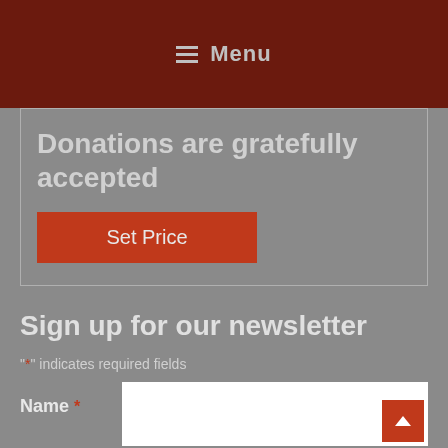Menu
Donations are gratefully accepted
Set Price
Sign up for our newsletter
"*" indicates required fields
Name *
First